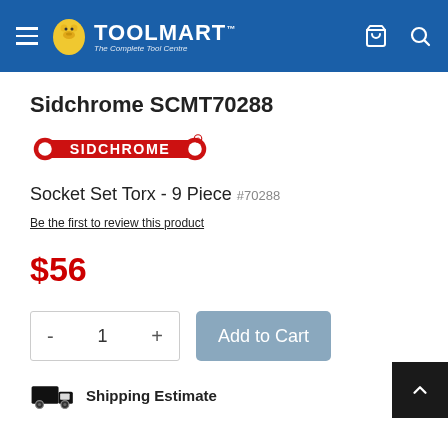TOOLMART - The Complete Tool Centre
Sidchrome SCMT70288
[Figure (logo): Sidchrome brand logo in red with wrench/spanner shape motif]
Socket Set Torx - 9 Piece #70288
Be the first to review this product
$56
Add to Cart
Shipping Estimate